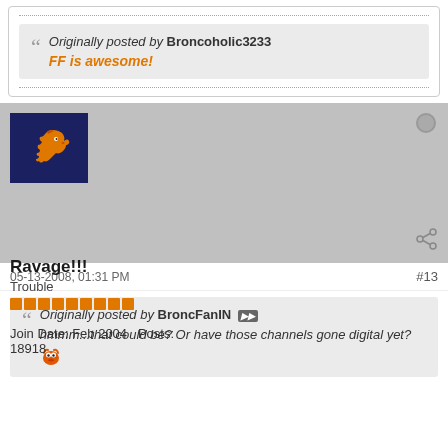Originally posted by Broncoholic3233
FF is awesome!
[Figure (screenshot): Denver Broncos logo avatar - orange horse on navy blue background]
Ravage!!!
Trouble
Join Date: Feb 2004  Posts: 18918
05-13-2008, 01:31 PM  #13
Originally posted by BroncFanIN
hmmm...that could be? Or have those channels gone digital yet?